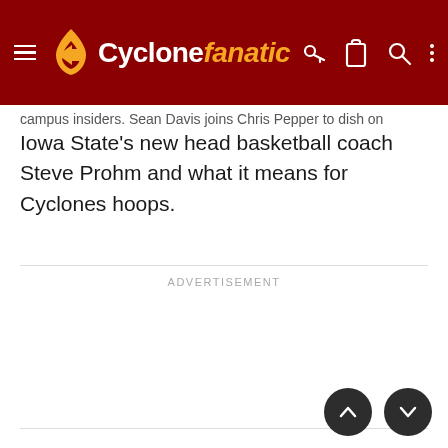Cyclone fanatic
campus insiders. Sean Davis joins Chris Pepper to dish on Iowa State's new head basketball coach Steve Prohm and what it means for Cyclones hoops.
ADVERTISEMENT